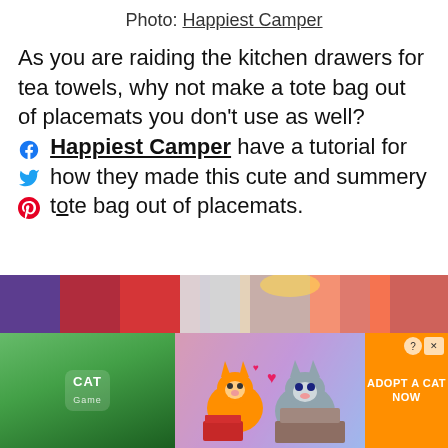Photo: Happiest Camper
As you are raiding the kitchen drawers for tea towels, why not make a tote bag out of placemats you don't use as well? Happiest Camper have a tutorial for how they made this cute and summery tote bag out of placemats.
Tote Bag made from a R…
[Figure (photo): Partial photo strip of a colorful tote bag made from placemats]
[Figure (screenshot): Advertisement banner: Cat Game - Adopt a Cat Now]